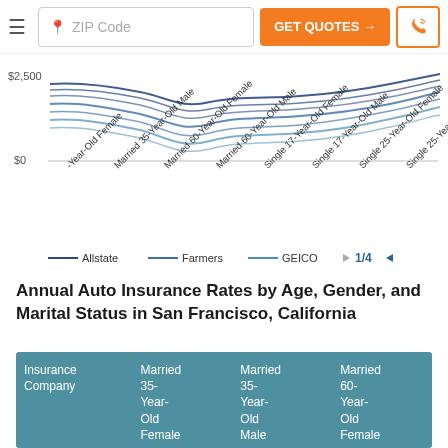ZIP Code | GET QUOTES → | phone
[Figure (line-chart): Partial line chart showing annual auto insurance rates by age, gender, and marital status for multiple insurers (Allstate, Farmers, GEICO). X-axis shows driver profiles: Married 35-Year-Old Female, Married 35-Year-Old Male, Married 60-Year-Old Female, Married 60-Year-Old Male, Single 17-Year-Old Female, Single 17-Year-Old Male, Single 25-Year-Old Female, Single 25-Year-Old Male. Y-axis shows $0 to $2,500. Legend shows 1/4 pages of insurers.]
Annual Auto Insurance Rates by Age, Gender, and Marital Status in San Francisco, California
| Insurance Company | Married 35-Year-Old Female | Married 35-Year-Old Male | Married 60-Year-Old Female |
| --- | --- | --- | --- |